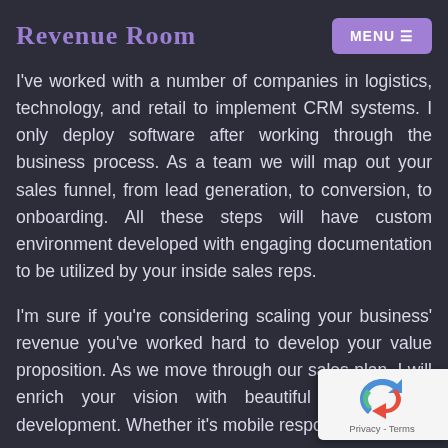Revenue Room
I've worked with a number of companies in logistics, technology, and retail to implement CRM systems. I only deploy software after working through the business process. As a team we will map out your sales funnel, from lead generation, to conversion, to onboarding. All these steps will have custom environment developed with engaging documentation to be utilized by your inside sales reps.
I'm sure if you're considering scaling your business' revenue you've worked hard to develop your value proposition. As we move through our sales plan, I will enrich your vision with beautiful and custom development. Whether it's mobile responsive en...
[Figure (other): reCAPTCHA badge with Privacy and Terms links]